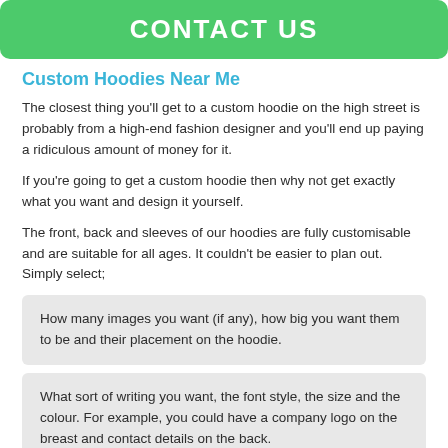CONTACT US
Custom Hoodies Near Me
The closest thing you'll get to a custom hoodie on the high street is probably from a high-end fashion designer and you'll end up paying a ridiculous amount of money for it.
If you're going to get a custom hoodie then why not get exactly what you want and design it yourself.
The front, back and sleeves of our hoodies are fully customisable and are suitable for all ages. It couldn't be easier to plan out. Simply select;
How many images you want (if any), how big you want them to be and their placement on the hoodie.
What sort of writing you want, the font style, the size and the colour. For example, you could have a company logo on the breast and contact details on the back.